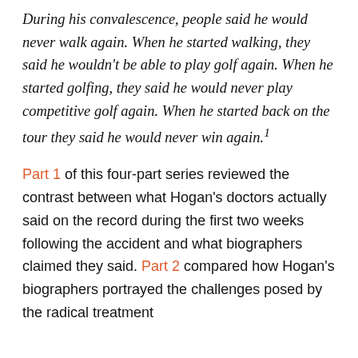During his convalescence, people said he would never walk again. When he started walking, they said he wouldn't be able to play golf again. When he started golfing, they said he would never play competitive golf again. When he started back on the tour they said he would never win again.¹
Part 1 of this four-part series reviewed the contrast between what Hogan's doctors actually said on the record during the first two weeks following the accident and what biographers claimed they said. Part 2 compared how Hogan's biographers portrayed the challenges posed by the radical treatment